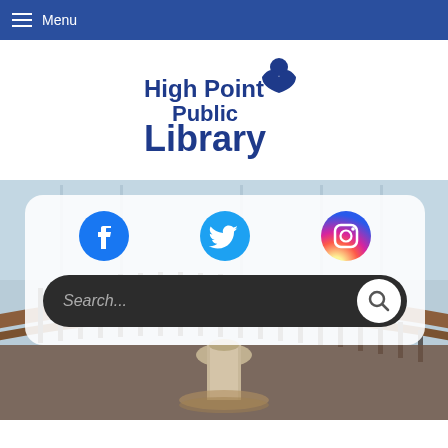Menu
[Figure (logo): High Point Public Library logo in dark blue, with a stylized open book icon]
[Figure (photo): Interior of High Point Public Library showing curved wooden railing and metal post of a staircase, with large windows in the background]
[Figure (infographic): White rounded card overlay with Facebook, Twitter, and Instagram social media icons, and a dark search bar with magnifying glass button below]